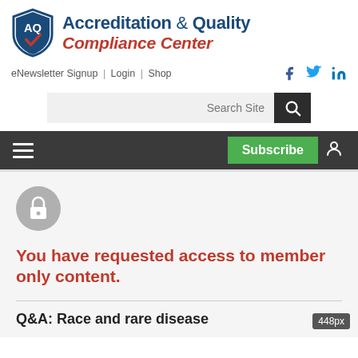[Figure (logo): Accreditation & Quality Compliance Center logo with shield icon containing AQ and checkmark]
Accreditation & Quality Compliance Center
eNewsletter Signup | Login | Shop
[Figure (logo): Social media icons: Facebook, Twitter, LinkedIn]
[Figure (screenshot): Search Site input box with dark search button]
[Figure (other): Dark navigation bar with hamburger menu, Subscribe button, and user icon]
[Figure (other): Grey circle with lock icon indicating member-only content]
You have requested access to member only content.
Q&A: Race and rare disease